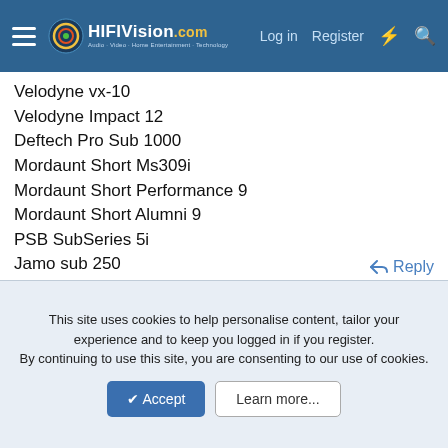HiFiVision.com — Log in | Register
Velodyne vx-10
Velodyne Impact 12
Deftech Pro Sub 1000
Mordaunt Short Ms309i
Mordaunt Short Performance 9
Mordaunt Short Alumni 9
PSB SubSeries 5i
Jamo sub 250
Please give opinions on these and any other models im missing out etc.
thanks
Reply
This site uses cookies to help personalise content, tailor your experience and to keep you logged in if you register.
By continuing to use this site, you are consenting to our use of cookies.